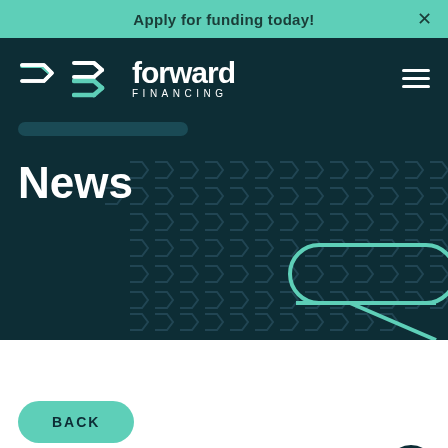Apply for funding today!
[Figure (logo): Forward Financing logo with double arrow icon and text 'forward FINANCING']
News
[Figure (illustration): Dark teal background with repeating arrow pattern and a teal highlighted oval shape with a stylized '7' or arrow figure inside]
BACK
CUSTOMER SIGN-IN